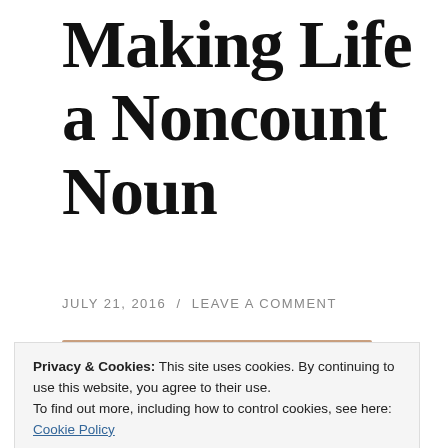Making Life a Noncount Noun
JULY 21, 2016 / LEAVE A COMMENT
[Figure (photo): Partial view of a photo, top portion showing warm toned background]
Privacy & Cookies: This site uses cookies. By continuing to use this website, you agree to their use.
To find out more, including how to control cookies, see here: Cookie Policy
Close and accept
[Figure (photo): Partial view of a photo, bottom portion showing a clock face]